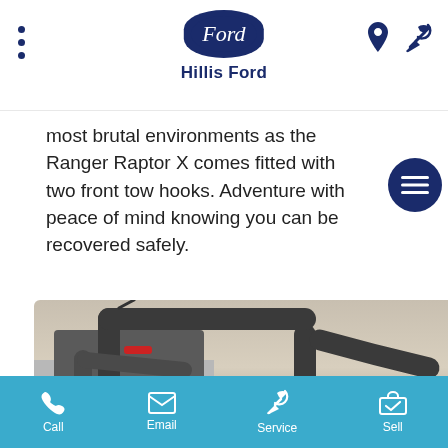Hillis Ford
most brutal environments as the Ranger Raptor X comes fitted with two front tow hooks. Adventure with peace of mind knowing you can be recovered safely.
[Figure (photo): Close-up photo of a Ford Ranger Raptor X sports bar / roll bar on the truck bed, matte black tubular steel, misty background]
Call  Email  Service  Sell